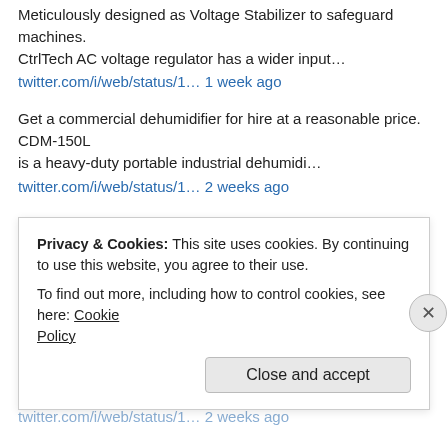Meticulously designed as Voltage Stabilizer to safeguard machines. CtrlTech AC voltage regulator has a wider input… twitter.com/i/web/status/1… 1 week ago
Get a commercial dehumidifier for hire at a reasonable price. CDM-150L is a heavy-duty portable industrial dehumidi… twitter.com/i/web/status/1… 2 weeks ago
Industrial dehumidifier for rental in Dubai, UAE. #Dehumidifier #DehumidifierRental #DehumidifierHire… twitter.com/i/web/status/1… 2 weeks ago
An automatic voltage stabilizer is the most useful device to protect machines. For Automatic voltage regulators, ca… twitter.com/i/web/status/1… 2 weeks ago
Privacy & Cookies: This site uses cookies. By continuing to use this website, you agree to their use. To find out more, including how to control cookies, see here: Cookie Policy Close and accept